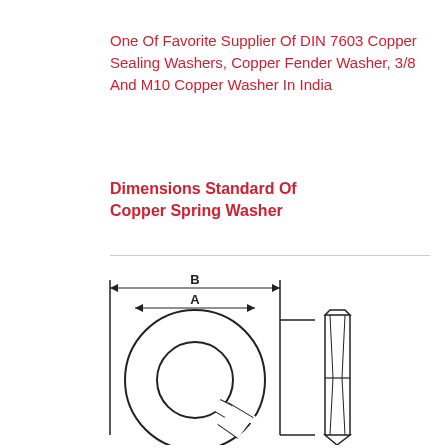One Of Favorite Supplier Of DIN 7603 Copper Sealing Washers, Copper Fender Washer, 3/8 And M10 Copper Washer In India
Dimensions Standard Of Copper Spring Washer
[Figure (engineering-diagram): Technical drawing of a copper spring washer showing front view (top view) with dimension arrows labeled A (inner diameter) and B (outer diameter), and a side profile view showing the split/spring cross-section shape.]